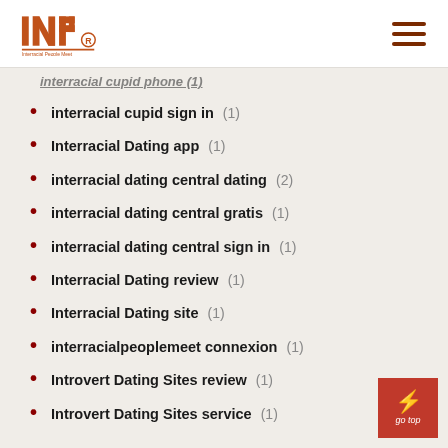[Figure (logo): INP logo with registered trademark symbol in brown/orange, with orange underline and small text beneath]
interracial cupid sign in (1)
Interracial Dating app (1)
interracial dating central dating (2)
interracial dating central gratis (1)
interracial dating central sign in (1)
Interracial Dating review (1)
Interracial Dating site (1)
interracialpeoplemeet connexion (1)
Introvert Dating Sites review (1)
Introvert Dating Sites service (1)